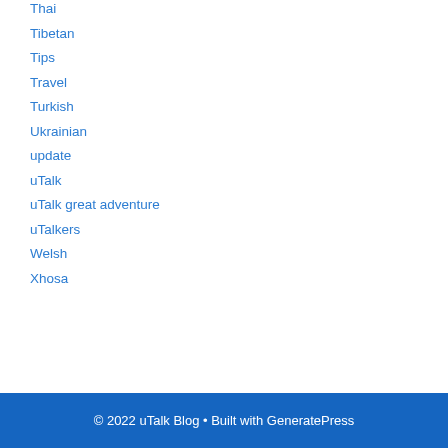Thai
Tibetan
Tips
Travel
Turkish
Ukrainian
update
uTalk
uTalk great adventure
uTalkers
Welsh
Xhosa
© 2022 uTalk Blog • Built with GeneratePress